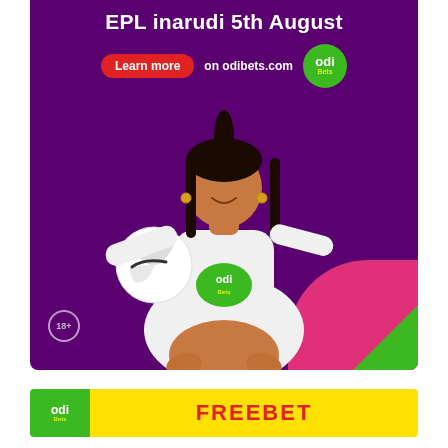[Figure (photo): OdiBets advertisement poster. Dark purple background with a woman holding a Premier League Nike football, wearing a white OdiBets branded hoodie. Text reads 'EPL inarudi 5th August'. Learn more button and odibets.com URL at top. 18+ badge at bottom left. Pink and green geometric shapes at bottom right.]
EPL inarudi 5th August
Learn more on odibets.com
[Figure (logo): Odi Bets logo - green circle with 'odi' in white and 'Bets' in yellow-green]
18+
FREEBET